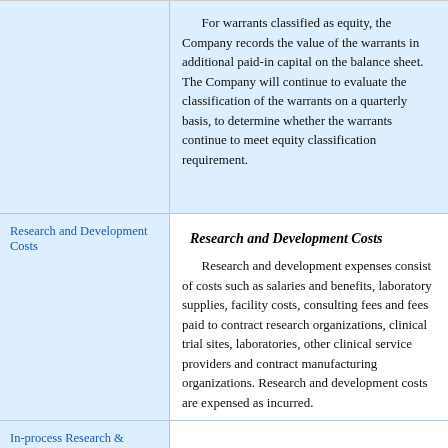For warrants classified as equity, the Company records the value of the warrants in additional paid-in capital on the balance sheet. The Company will continue to evaluate the classification of the warrants on a quarterly basis, to determine whether the warrants continue to meet equity classification requirement.
Research and Development Costs
Research and Development Costs

Research and development expenses consist of costs such as salaries and benefits, laboratory supplies, facility costs, consulting fees and fees paid to contract research organizations, clinical trial sites, laboratories, other clinical service providers and contract manufacturing organizations. Research and development costs are expensed as incurred.
In-process Research & Development